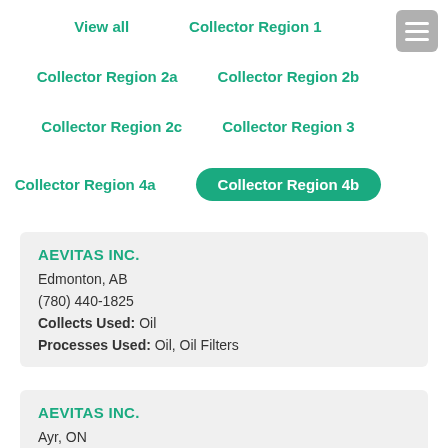View all
Collector Region 1
Collector Region 2a
Collector Region 2b
Collector Region 2c
Collector Region 3
Collector Region 4a
Collector Region 4b
AEVITAS INC.
Edmonton, AB
(780) 440-1825
Collects Used: Oil
Processes Used: Oil, Oil Filters
AEVITAS INC.
Ayr, ON